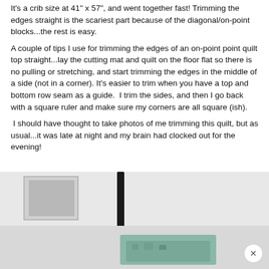It's a crib size at 41" x 57", and went together fast! Trimming the edges straight is the scariest part because of the diagonal/on-point blocks...the rest is easy.
A couple of tips I use for trimming the edges of an on-point point quilt top straight...lay the cutting mat and quilt on the floor flat so there is no pulling or stretching, and start trimming the edges in the middle of a side (not in a corner). It's easier to trim when you have a top and bottom row seam as a guide.  I trim the sides, and then I go back with a square ruler and make sure my corners are all square (ish).
I should have thought to take photos of me trimming this quilt, but as usual...it was late at night and my brain had clocked out for the evening!
[Figure (photo): A photo showing a room scene with what appears to be bed posts and quilting/sewing materials on a surface, with a framed picture visible on the wall in the background. A close button (x) overlay is visible in the bottom right corner.]